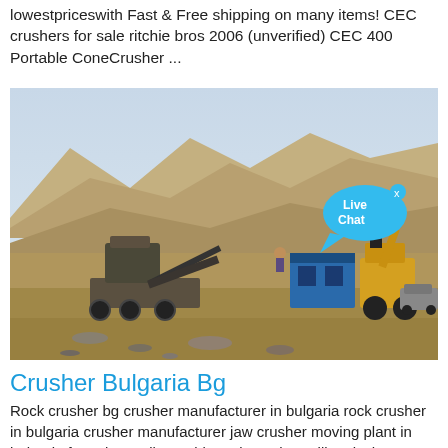lowestpriceswith Fast & Free shipping on many items! CEC crushers for sale ritchie bros 2006 (unverified) CEC 400 Portable ConeCrusher ...
[Figure (photo): Outdoor mining or quarrying site with a portable cone/jaw crusher machine setup on rocky terrain, mountains in background, blue equipment container, yellow excavator on right, car parked far right, and a Live Chat speech bubble overlay in the upper right area of the image.]
Crusher Bulgaria Bg
Rock crusher bg crusher manufacturer in bulgaria rock crusher in bulgaria crusher manufacturer jaw crusher moving plant in bulgaria for sale small portable rock crusher mill rock chat welcome to tm engineering